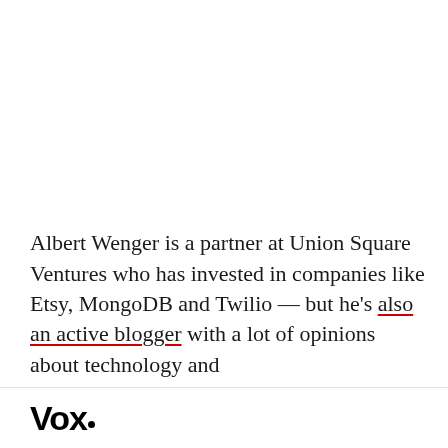Albert Wenger is a partner at Union Square Ventures who has invested in companies like Etsy, MongoDB and Twilio — but he's also an active blogger with a lot of opinions about technology and
Vox